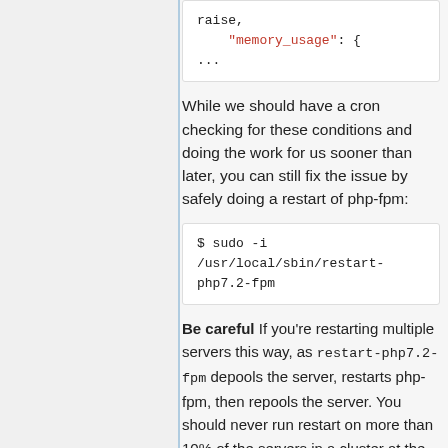raise,
    "memory_usage": {
...
While we should have a cron checking for these conditions and doing the work for us sooner than later, you can still fix the issue by safely doing a restart of php-fpm:
$ sudo -i /usr/local/sbin/restart-php7.2-fpm
Be careful If you're restarting multiple servers this way, as restart-php7.2-fpm depools the server, restarts php-fpm, then repools the server. You should never run restart on more than 10% of the servers in a cluster at the same time.